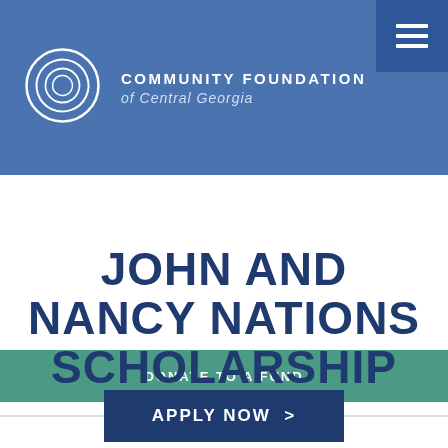[Figure (logo): Community Foundation of Central Georgia logo: circular swirl icon in white on blue background, with organization name in white text]
DONATE TO A FUND
JOHN AND NANCY NATIONS SCHOLARSHIP FUND
Deadline: March 15th
APPLY NOW >